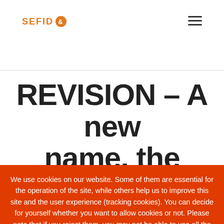SEFID &
REVISION - A new name, the same
We use cookies on our website. Some of them are essential for the operation of the site, while others help us to improve this site and the user experience (tracking cookies). You can decide for yourself whether you want to allow cookies or not. Please note that if you reject them, you may not be able to use all the functionalities of the site.
OK
More information